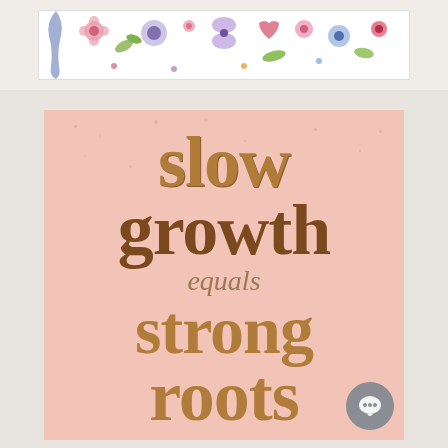[Figure (illustration): A floral banner/header with colorful folk-art style flowers, leaves, and decorative patterns on a white background with a partial blue figure on the left edge.]
[Figure (illustration): A book cover with a pink background and gold/brown serif text reading 'slow growth equals strong roots' with gold sparkle dots scattered across the surface. A grey chat bubble icon is overlaid in the bottom right corner.]